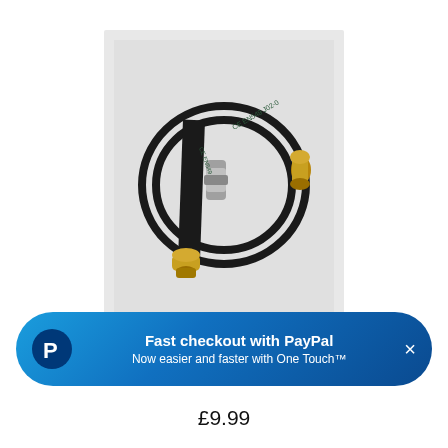[Figure (photo): A black rubber gas hose with brass fittings on both ends, coiled in a loop shape on a light grey background.]
Fast checkout with PayPal
Now easier and faster with One Touch™
£9.99